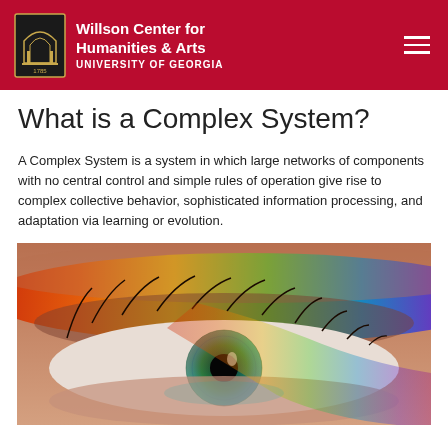Willson Center for Humanities & Arts — University of Georgia
What is a Complex System?
A Complex System is a system in which large networks of components with no central control and simple rules of operation give rise to complex collective behavior, sophisticated information processing, and adaptation via learning or evolution.
[Figure (photo): Close-up photograph of a human eye with a rainbow of colors reflected across the eyelid and iris, showing vivid spectral colors from red/orange at the top to blue/green below.]